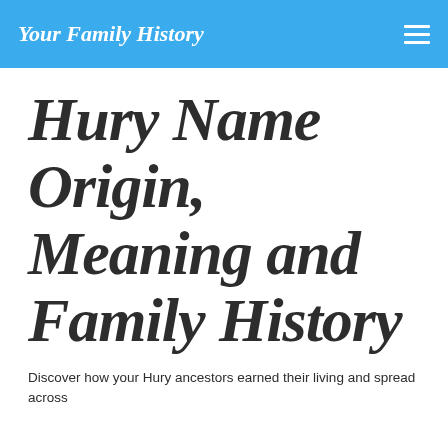Your Family History
Hury Name Origin, Meaning and Family History
Discover how your Hury ancestors earned their living and spread across